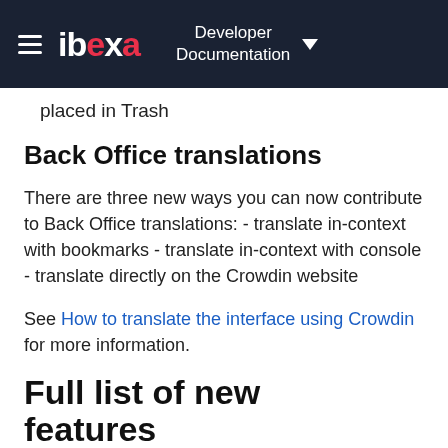ibeka — Developer Documentation
placed in Trash
Back Office translations
There are three new ways you can now contribute to Back Office translations: - translate in-context with bookmarks - translate in-context with console - translate directly on the Crowdin website
See How to translate the interface using Crowdin for more information.
Full list of new features